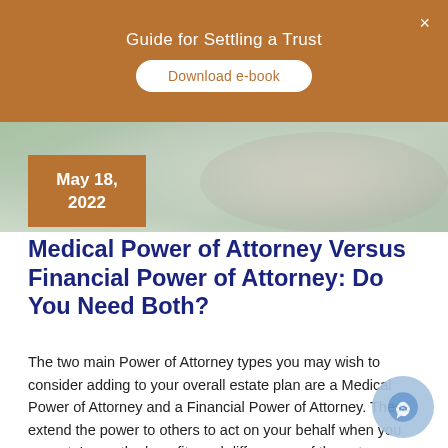Guide for Settling a Trust
Download e-book
[Figure (photo): Close-up photo of hands, possibly in a medical or care context, with a blurred teal/green background]
May 18, 2022
Medical Power of Attorney Versus Financial Power of Attorney: Do You Need Both?
The two main Power of Attorney types you may wish to consider adding to your overall estate plan are a Medical Power of Attorney and a Financial Power of Attorney. These extend the power to others to act on your behalf when you cannot. Learn the benefits and differences of these two documents that aid you